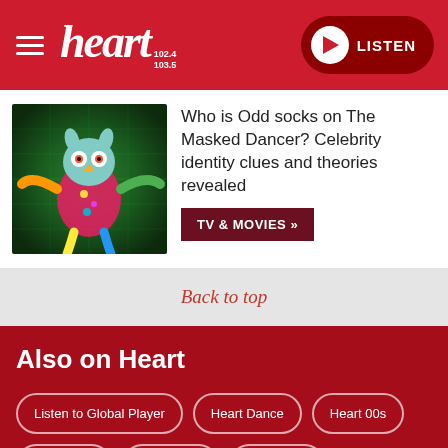heart 102.4 103.5 LISTEN
[Figure (photo): Colourful masked dancer costume character on a green glowing stage background]
Who is Odd socks on The Masked Dancer? Celebrity identity clues and theories revealed
TV & MOVIES »
Back to top
Also on Heart
Listen to Global Player
Heart Dance
Heart 00s
Heart 90s
Heart 80s
Heart 70s